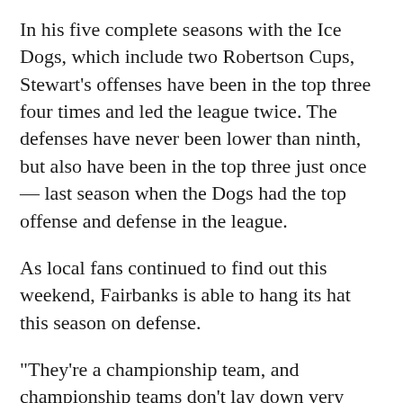In his five complete seasons with the Ice Dogs, which include two Robertson Cups, Stewart’s offenses have been in the top three four times and led the league twice. The defenses have never been lower than ninth, but also have been in the top three just once — last season when the Dogs had the top offense and defense in the league.
As local fans continued to find out this weekend, Fairbanks is able to hang its hat this season on defense.
“They’re a championship team, and championship teams don’t lay down very long,” said Kenai River head coach Jeff Worlton.
Only four teams in the league have scored less Fairbanks, but the Ice Dogs have used a defense